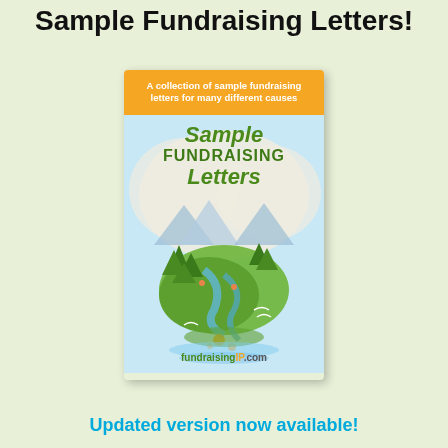Sample Fundraising Letters!
[Figure (illustration): Book cover for 'Sample Fundraising Letters' by fundraisingIP.com. Orange banner at top reads 'A collection of sample fundraising letters for many different causes'. Main cover area is light blue with a cloud shape, showing title text 'Sample FUNDRAISING Letters' in green, and an illustrated globe with trees, mountains, rivers, and small people figures. Bottom shows 'fundraisingIP.com' logo.]
Updated version now available!